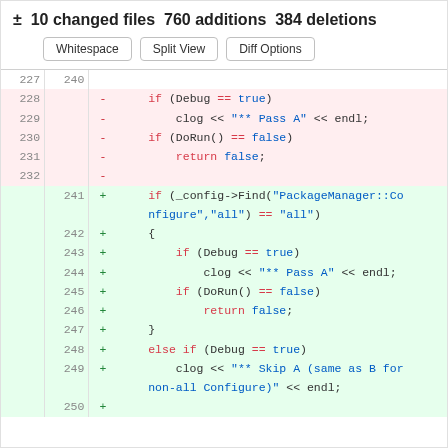± 10 changed files 760 additions 384 deletions
[Figure (screenshot): Git diff view with Whitespace, Split View, and Diff Options buttons]
| old | new | sign | code |
| --- | --- | --- | --- |
| 227 | 240 |  |  |
| 228 |  | - | if (Debug == true) |
| 229 |  | - | clog << "** Pass A" << endl; |
| 230 |  | - | if (DoRun() == false) |
| 231 |  | - | return false; |
| 232 |  | - |  |
|  | 241 | + | if (_config->Find("PackageManager::Configure","all") == "all") |
|  | 242 | + | { |
|  | 243 | + | if (Debug == true) |
|  | 244 | + | clog << "** Pass A" << endl; |
|  | 245 | + | if (DoRun() == false) |
|  | 246 | + | return false; |
|  | 247 | + | } |
|  | 248 | + | else if (Debug == true) |
|  | 249 | + | clog << "** Skip A (same as B for non-all Configure)" << endl; |
|  | 250 | + |  |